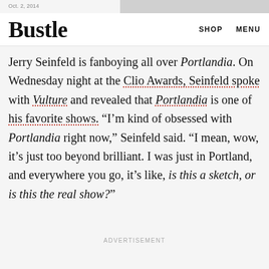Oct. 2, 2014
Bustle
Jerry Seinfeld is fanboying all over Portlandia. On Wednesday night at the Clio Awards, Seinfeld spoke with Vulture and revealed that Portlandia is one of his favorite shows. “I’m kind of obsessed with Portlandia right now,” Seinfeld said. “I mean, wow, it’s just too beyond brilliant. I was just in Portland, and everywhere you go, it’s like, is this a sketch, or is this the real show?”
ADVERTISEMENT